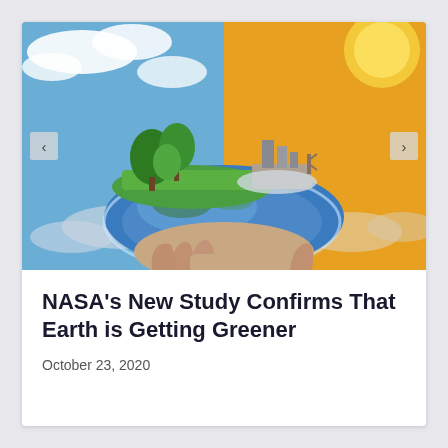[Figure (photo): A human hand holding a half-globe of Earth, with green trees and grass on the left side and a dry, barren landscape on the right side. The left background shows a blue sky with white clouds; the right background shows a warm orange sky with sunlight. The image contrasts lush greenery vs arid/urban environment.]
NASA’s New Study Confirms That Earth is Getting Greener
October 23, 2020